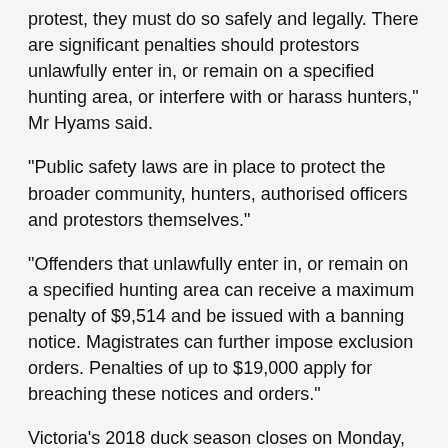protest, they must do so safely and legally. There are significant penalties should protestors unlawfully enter in, or remain on a specified hunting area, or interfere with or harass hunters," Mr Hyams said.
"Public safety laws are in place to protect the broader community, hunters, authorised officers and protestors themselves."
"Offenders that unlawfully enter in, or remain on a specified hunting area can receive a maximum penalty of $9,514 and be issued with a banning notice. Magistrates can further impose exclusion orders. Penalties of up to $19,000 apply for breaching these notices and orders."
Victoria's 2018 duck season closes on Monday, 11 June. The bag limit remains at the standard 10 birds per person per day and hunting of the Blue-winged Shoveler is prohibited due to persistent low numbers of the species.
GMA Game Officers, Victoria Police and other authorised officers from DELWP, DEDJTR and Parks Victoria will remain active throughout private and public land across the state